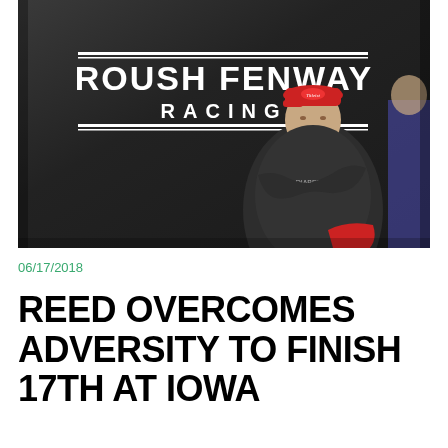[Figure (photo): A racing driver standing with arms crossed in front of a Roush Fenway Racing banner/backdrop. He is wearing a dark long-sleeve shirt and a red and white cap. The Roush Fenway Racing logo is prominently visible behind him.]
06/17/2018
REED OVERCOMES ADVERSITY TO FINISH 17TH AT IOWA